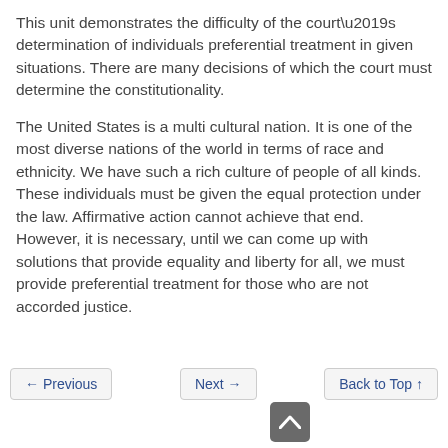This unit demonstrates the difficulty of the court’s determination of individuals preferential treatment in given situations. There are many decisions of which the court must determine the constitutionality.
The United States is a multi cultural nation. It is one of the most diverse nations of the world in terms of race and ethnicity. We have such a rich culture of people of all kinds. These individuals must be given the equal protection under the law. Affirmative action cannot achieve that end. However, it is necessary, until we can come up with solutions that provide equality and liberty for all, we must provide preferential treatment for those who are not accorded justice.
← Previous   Next →   Back to Top ↑